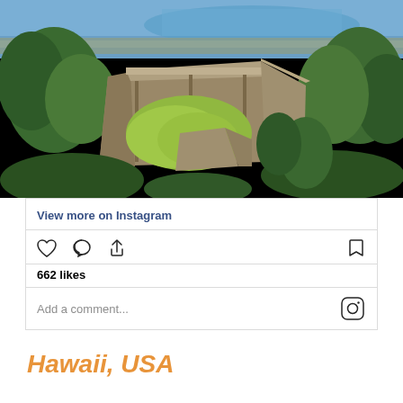[Figure (photo): Aerial view of an ancient stone fortress or castle with green grounds, surrounded by trees, with a coastal city and blue water/harbor visible in the background]
View more on Instagram
662 likes
Add a comment...
Hawaii, USA